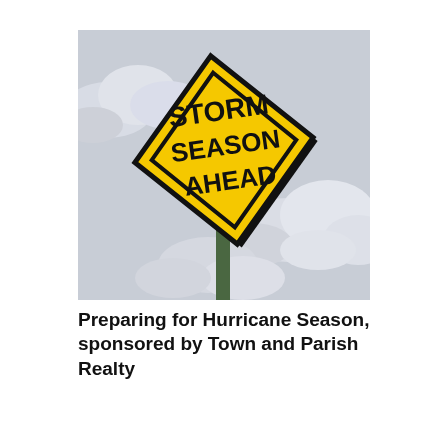[Figure (photo): A yellow diamond-shaped road warning sign reading 'STORM SEASON AHEAD' in black bold letters, tilted slightly, mounted on a dark green pole, against a cloudy grey sky background.]
Preparing for Hurricane Season, sponsored by Town and Parish Realty